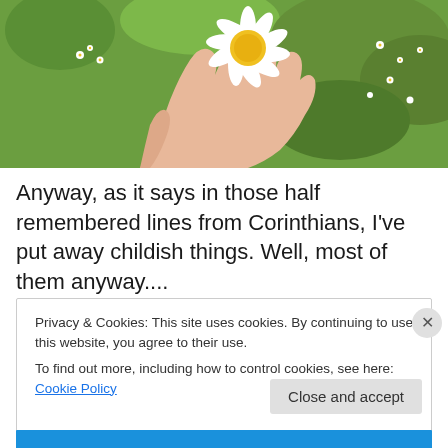[Figure (photo): A hand holding a white daisy flower against a background of green grass and small white and yellow wildflowers]
Anyway, as it says in those half remembered lines from Corinthians, I've put away childish things. Well, most of them anyway....
Privacy & Cookies: This site uses cookies. By continuing to use this website, you agree to their use.
To find out more, including how to control cookies, see here: Cookie Policy
Close and accept